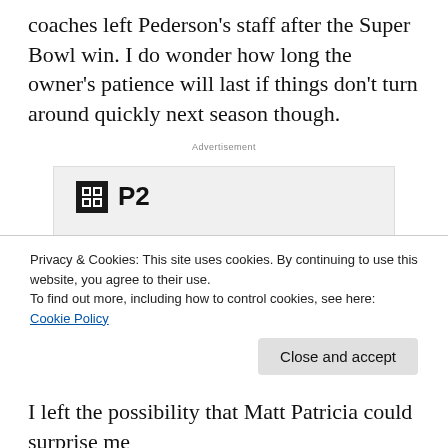coaches left Pederson's staff after the Super Bowl win. I do wonder how long the owner's patience will last if things don't turn around quickly next season though.
[Figure (other): P2 advertisement banner: logo with black square icon and 'P2' text, headline 'Getting your team on the same page is easy. And free.' with circular avatar photos below]
Privacy & Cookies: This site uses cookies. By continuing to use this website, you agree to their use.
To find out more, including how to control cookies, see here: Cookie Policy
I left the possibility that Matt Patricia could surprise me